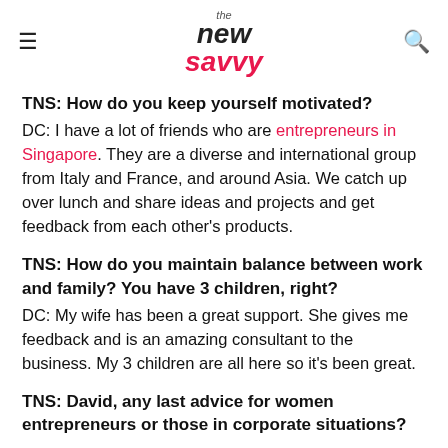the new savvy
TNS: How do you keep yourself motivated?
DC: I have a lot of friends who are entrepreneurs in Singapore. They are a diverse and international group from Italy and France, and around Asia. We catch up over lunch and share ideas and projects and get feedback from each other's products.
TNS: How do you maintain balance between work and family? You have 3 children, right?
DC: My wife has been a great support. She gives me feedback and is an amazing consultant to the business. My 3 children are all here so it's been great.
TNS: David, any last advice for women entrepreneurs or those in corporate situations?